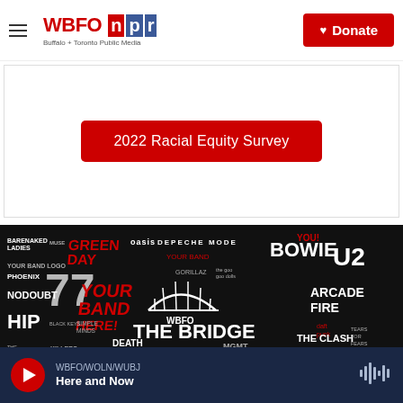[Figure (logo): WBFO NPR logo with text Buffalo + Toronto Public Media]
Donate
2022 Racial Equity Survey
[Figure (photo): The Bridge WBFO promotional image with band names on black background including No Doubt, Green Day, Oasis, Depeche Mode, U2, Bowie, Arcade Fire, The Hip, Nirvana, The Cure, Killers, The Clash, Tears for Fears, Coldplay, Death Cab for Cutie, Blondie, MGMT, Simple Minds, Black Keys, The Smiths, Phoenix, Muse, Barenaked Ladies, Gorillaz, Goo Goo Dolls, Daft Punk]
WBFO/WOLN/WUBJ
Here and Now